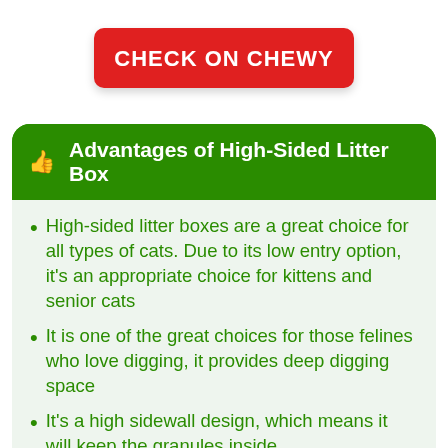CHECK ON CHEWY
👍 Advantages of High-Sided Litter Box
High-sided litter boxes are a great choice for all types of cats. Due to its low entry option, it's an appropriate choice for kittens and senior cats
It is one of the great choices for those felines who love digging, it provides deep digging space
It's a high sidewall design, which means it will keep the granules inside